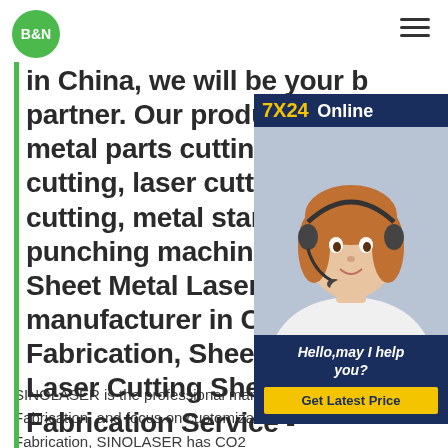B&N
in China, we will be your best partner. Our production is based on metal parts cutting, sawing cutting, laser cutting, water cutting, metal stamping and punching machine.Laser Cutting Sheet Metal Laser Cutting manufacturer in ChinaSheet Metal Fabrication, Sheet Metal Laser Cutting Laser Cutting Sheet Metal Fabrication Service -
[Figure (photo): 7X24 Online customer service representative wearing headset, with Hello,may I help you? text and Get Latest Price button on dark blue background]
SINOLASER is the professional manufacture in Sheet Metal Fabrication, and focus on customization of Sheet Metal Fabrication, SINOLASER has CO2